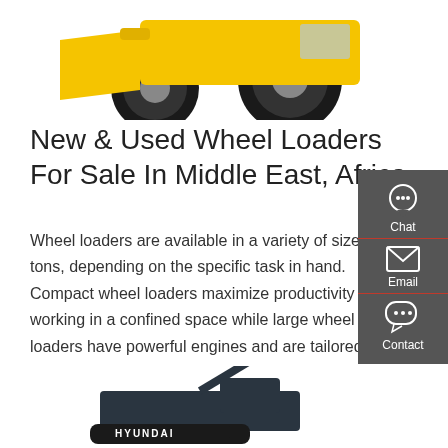[Figure (photo): Top portion of a yellow wheel loader machine on white background, showing wheels and bucket]
New & Used Wheel Loaders For Sale In Middle East, Africa
Wheel loaders are available in a variety of sizes and tons, depending on the specific task in hand. Compact wheel loaders maximize productivity when working in a confined space while large wheel loaders have powerful engines and are tailored specifically for industrial or heavy-duty purposes.
[Figure (infographic): Sidebar with three contact options: Chat (headset icon), Email (envelope icon), Contact (speech bubble icon) on dark gray background]
[Figure (photo): Bottom portion of a dark Hyundai excavator/construction machine on white background]
Get a quote